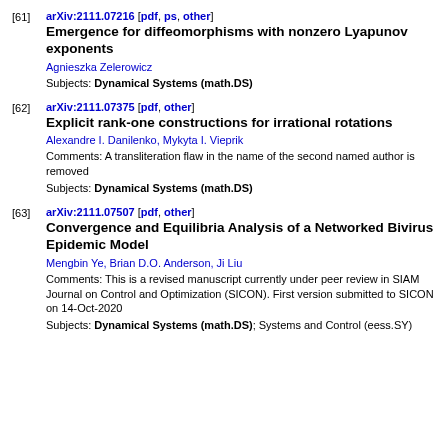[61] arXiv:2111.07216 [pdf, ps, other]
Emergence for diffeomorphisms with nonzero Lyapunov exponents
Agnieszka Zelerowicz
Subjects: Dynamical Systems (math.DS)
[62] arXiv:2111.07375 [pdf, other]
Explicit rank-one constructions for irrational rotations
Alexandre I. Danilenko, Mykyta I. Vieprik
Comments: A transliteration flaw in the name of the second named author is removed
Subjects: Dynamical Systems (math.DS)
[63] arXiv:2111.07507 [pdf, other]
Convergence and Equilibria Analysis of a Networked Bivirus Epidemic Model
Mengbin Ye, Brian D.O. Anderson, Ji Liu
Comments: This is a revised manuscript currently under peer review in SIAM Journal on Control and Optimization (SICON). First version submitted to SICON on 14-Oct-2020
Subjects: Dynamical Systems (math.DS); Systems and Control (eess.SY)